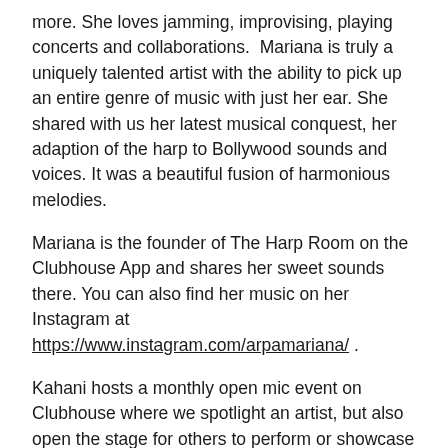more. She loves jamming, improvising, playing concerts and collaborations.  Mariana is truly a uniquely talented artist with the ability to pick up an entire genre of music with just her ear. She shared with us her latest musical conquest, her adaption of the harp to Bollywood sounds and voices. It was a beautiful fusion of harmonious melodies.
Mariana is the founder of The Harp Room on the Clubhouse App and shares her sweet sounds there. You can also find her music on her Instagram at https://www.instagram.com/arpamariana/ .
Kahani hosts a monthly open mic event on Clubhouse where we spotlight an artist, but also open the stage for others to perform or showcase their art, music, poetry, and stories. We welcome all creatives, storytellers and listeners.